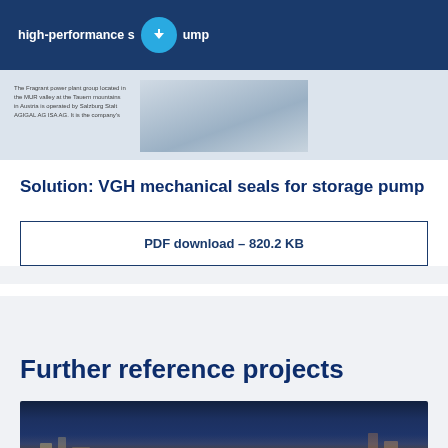[Figure (screenshot): Preview thumbnail of a document about high-performance storage pump with download icon and office photo]
Solution: VGH mechanical seals for storage pump
PDF download - 820.2 KB
Further reference projects
[Figure (photo): Night cityscape photo showing illuminated city skyline]